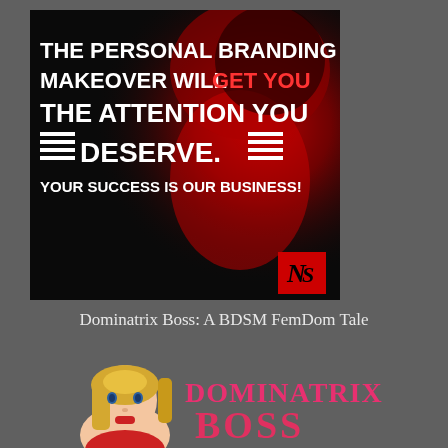[Figure (illustration): Promotional image with dark background and red-lit woman's face. Bold white text reads: THE PERSONAL BRANDING MAKEOVER WILL GET YOU THE ATTENTION YOU DESERVE. YOUR SUCCESS IS OUR BUSINESS! with decorative horizontal line elements. A logo 'NS' appears in bottom right corner on a red square.]
Dominatrix Boss: A BDSM FemDom Tale
[Figure (illustration): Bottom portion showing book cover for 'Dominatrix Boss' with illustrated blonde woman on left and stylized text 'DOMINATRIX BOSS' in pink/red on right.]